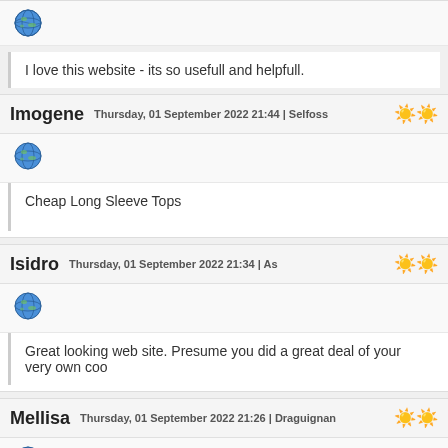[Figure (illustration): Green globe/earth icon]
I love this website - its so usefull and helpfull.
Imogene   Thursday, 01 September 2022 21:44 | Selfoss
[Figure (illustration): Green globe/earth icon]
Cheap Long Sleeve Tops
Isidro   Thursday, 01 September 2022 21:34 | As
[Figure (illustration): Green globe/earth icon]
Great looking web site. Presume you did a great deal of your very own coo
Mellisa   Thursday, 01 September 2022 21:26 | Draguignan
[Figure (illustration): Green globe/earth icon]